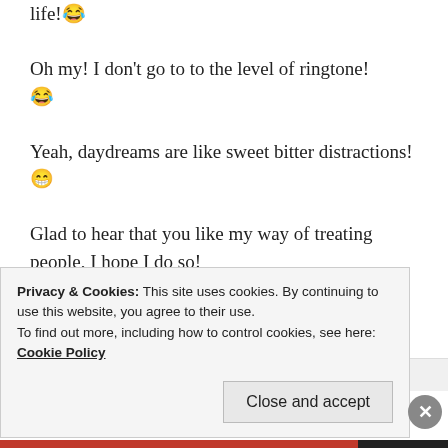life! 😂
Oh my! I don't go to to the level of ringtone! 😂
Yeah, daydreams are like sweet bitter distractions! 😁
Glad to hear that you like my way of treating people, I hope I do so!
Thank you again for taking out time to read and making sure I receive your comments! 😊
💕
👍 Liked by 1 person
Privacy & Cookies: This site uses cookies. By continuing to use this website, you agree to their use.
To find out more, including how to control cookies, see here: Cookie Policy
Close and accept